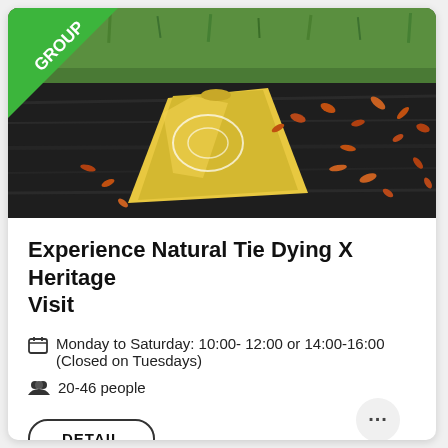[Figure (photo): A yellow tie-dyed fabric bag on a dark wooden surface with scattered dried orange/brown petals or spices around it. Green grass visible in the background. A green 'GROUP' badge is in the top-left corner of the image.]
Experience Natural Tie Dying X Heritage Visit
Monday to Saturday: 10:00- 12:00 or 14:00-16:00 (Closed on Tuesdays)
20-46 people
DETAIL